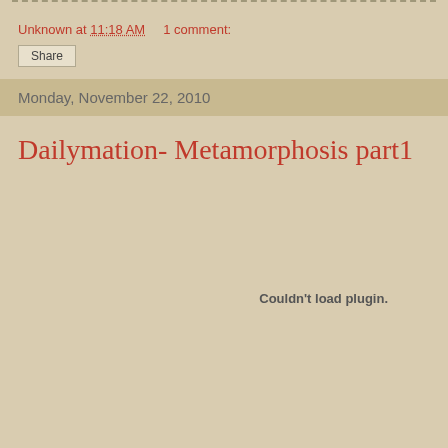Unknown at 11:18 AM    1 comment:
Share
Monday, November 22, 2010
Dailymation- Metamorphosis part1
Couldn't load plugin.